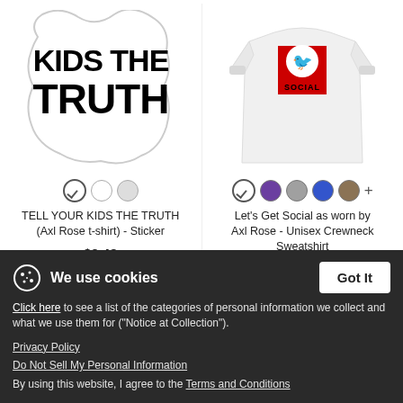[Figure (photo): Sticker product image showing bold black text 'KIDS THE TRUTH' on a wavy white background, styled like a bold typography sticker.]
[Figure (photo): White unisex crewneck sweatshirt with a square graphic showing a bird logo and the word SOCIAL in bold black text on a red/white background.]
TELL YOUR KIDS THE TRUTH (Axl Rose t-shirt) - Sticker
$3.49
Let's Get Social as worn by Axl Rose - Unisex Crewneck Sweatshirt
$30.99
We use cookies
Click here to see a list of the categories of personal information we collect and what we use them for ("Notice at Collection").
Privacy Policy
Do Not Sell My Personal Information
By using this website, I agree to the Terms and Conditions